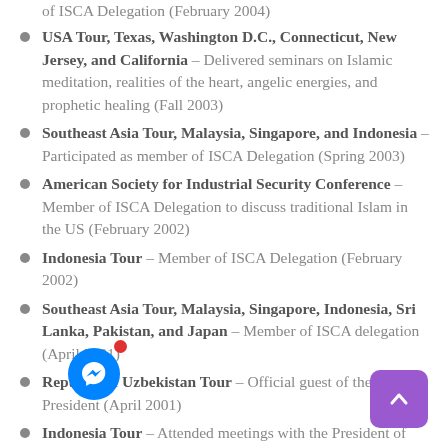of ISCA Delegation (February 2004)
USA Tour, Texas, Washington D.C., Connecticut, New Jersey, and California – Delivered seminars on Islamic meditation, realities of the heart, angelic energies, and prophetic healing (Fall 2003)
Southeast Asia Tour, Malaysia, Singapore, and Indonesia – Participated as member of ISCA Delegation (Spring 2003)
American Society for Industrial Security Conference – Member of ISCA Delegation to discuss traditional Islam in the US (February 2002)
Indonesia Tour – Member of ISCA Delegation (February 2002)
Southeast Asia Tour, Malaysia, Singapore, Indonesia, Sri Lanka, Pakistan, and Japan – Member of ISCA delegation (April 2001)
Republic of Uzbekistan Tour – Official guest of the President (April 2001)
Indonesia Tour – Attended meetings with the President of Indonesia and other Ministers (September 2000)
UNESCO Conference, Uzbekistan –